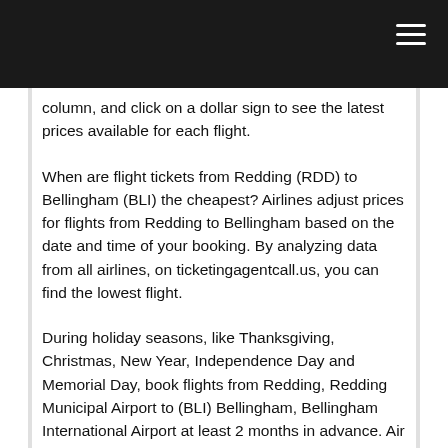[navigation bar with hamburger menu]
column, and click on a dollar sign to see the latest prices available for each flight.
When are flight tickets from Redding (RDD) to Bellingham (BLI) the cheapest? Airlines adjust prices for flights from Redding to Bellingham based on the date and time of your booking. By analyzing data from all airlines, on ticketingagentcall.us, you can find the lowest flight.
During holiday seasons, like Thanksgiving, Christmas, New Year, Independence Day and Memorial Day, book flights from Redding, Redding Municipal Airport to (BLI) Bellingham, Bellingham International Airport at least 2 months in advance. Air fares with one or more stops are usually cheaper than Redding (RDD) to Bellingham (BLI) direct flights. Scan through flights from Bellingham